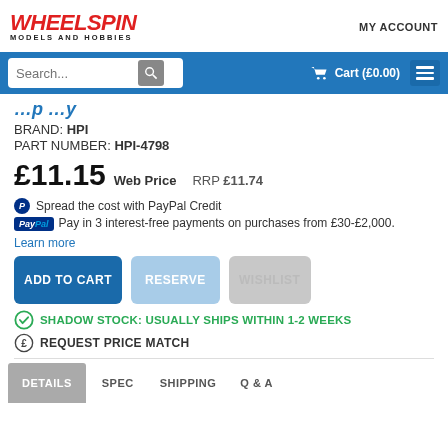WHEELSPIN MODELS AND HOBBIES | MY ACCOUNT
BRAND: HPI
PART NUMBER: HPI-4798
£11.15 Web Price  RRP £11.74
Spread the cost with PayPal Credit
PayPal Pay in 3 interest-free payments on purchases from £30-£2,000. Learn more
ADD TO CART | RESERVE | WISHLIST
SHADOW STOCK: USUALLY SHIPS WITHIN 1-2 WEEKS
REQUEST PRICE MATCH
DETAILS | SPEC | SHIPPING | Q & A